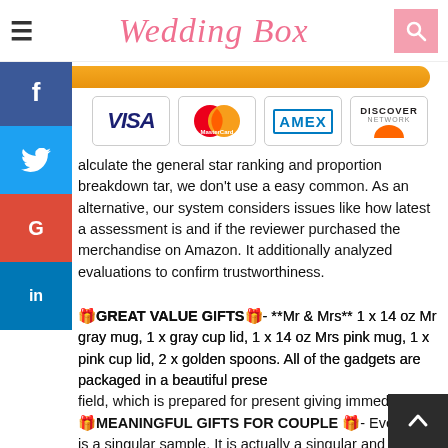Wedding Box
[Figure (logo): Payment method icons: VISA, MasterCard, AMEX, DISCOVER]
alculate the general star ranking and proportion breakdown tar, we don't use a easy common. As an alternative, our system considers issues like how latest a assessment is and if the reviewer purchased the merchandise on Amazon. It additionally analyzed evaluations to confirm trustworthiness.
🎁GREAT VALUE GIFTS🎁- **Mr & Mrs** 1 x 14 oz Mr gray mug, 1 x gray cup lid, 1 x 14 oz Mrs pink mug, 1 x pink cup lid, 2 x golden spoons. All of the gadgets are packaged in a beautiful present field, which is prepared for present giving immediately. 🎁MEANINGFUL GIFTS FOR COUPLE 🎁- Every cup is a singular sample. It is actually a singular and significant items set for